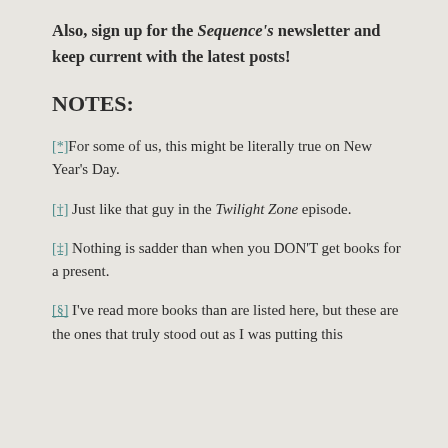Also, sign up for the Sequence's newsletter and keep current with the latest posts!
NOTES:
[*] For some of us, this might be literally true on New Year's Day.
[†] Just like that guy in the Twilight Zone episode.
[‡] Nothing is sadder than when you DON'T get books for a present.
[§] I've read more books than are listed here, but these are the ones that truly stood out as I was putting this